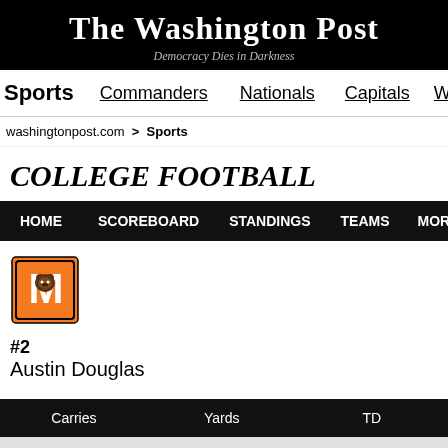The Washington Post
Democracy Dies in Darkness
Sports | Commanders | Nationals | Capitals | Wiza
washingtonpost.com > Sports
COLLEGE FOOTBALL
HOME | SCOREBOARD | STANDINGS | TEAMS | MORE...
[Figure (logo): Mercer Bears orange block M logo with bear face]
#2
Austin Douglas
| Carries | Yards | TD |
| --- | --- | --- |